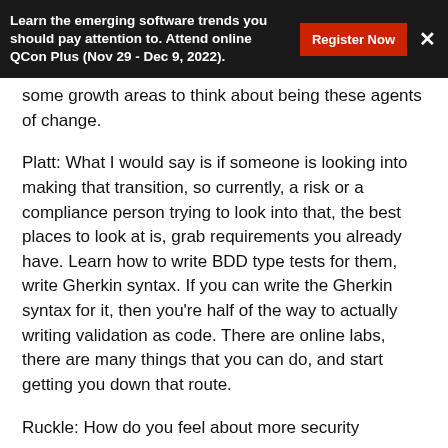Learn the emerging software trends you should pay attention to. Attend online QCon Plus (Nov 29 - Dec 9, 2022).
some growth areas to think about being these agents of change.
Platt: What I would say is if someone is looking into making that transition, so currently, a risk or a compliance person trying to look into that, the best places to look at is, grab requirements you already have. Learn how to write BDD type tests for them, write Gherkin syntax. If you can write the Gherkin syntax for it, then you're half of the way to actually writing validation as code. There are online labs, there are many things that you can do, and start getting you down that route.
Ruckle: How do you feel about more security